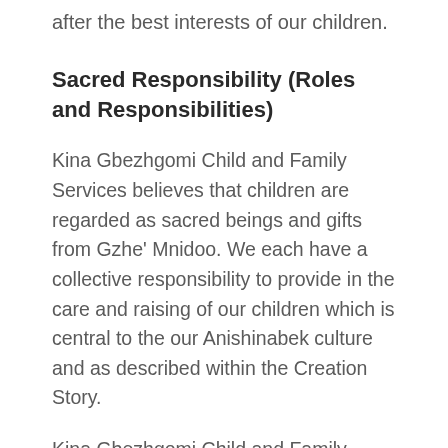after the best interests of our children.
Sacred Responsibility (Roles and Responsibilities)
Kina Gbezhgomi Child and Family Services believes that children are regarded as sacred beings and gifts from Gzhe' Mnidoo. We each have a collective responsibility to provide in the care and raising of our children which is central to the our Anishinabek culture and as described within the Creation Story.
Kina Gbezhgomi Child and Family Services can temporarily assume the responsibility of caring for children while in-care and will assure the preservation or enhancement of